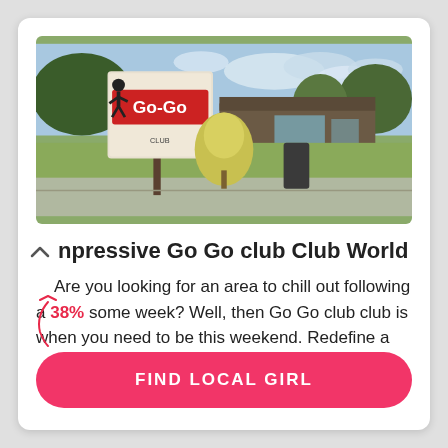[Figure (photo): Outdoor photo of a Go-Go club building with a tall sign reading 'Go-Go' and a silhouette figure, autumn trees, and a parking area in the background under a partly cloudy sky.]
Impressive Go Go club Club World
Are you looking for an area to chill out following a 38% some week? Well, then Go Go club club is when you need to be this weekend. Redefine a
FIND LOCAL GIRL